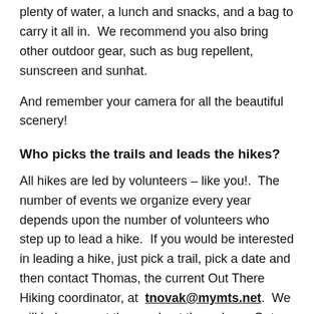plenty of water, a lunch and snacks, and a bag to carry it all in.  We recommend you also bring other outdoor gear, such as bug repellent, sunscreen and sunhat.
And remember your camera for all the beautiful scenery!
Who picks the trails and leads the hikes?
All hikes are led by volunteers – like you!.  The number of events we organize every year depends upon the number of volunteers who step up to lead a hike.  If you would be interested in leading a hike, just pick a trail, pick a date and then contact Thomas, the current Out There Hiking coordinator, at tnovak@mymts.net.  We will help you get the word out through our Out There lists, and we will give you any support you need to organize and lead the event.  Happy trails!
Schedule and location